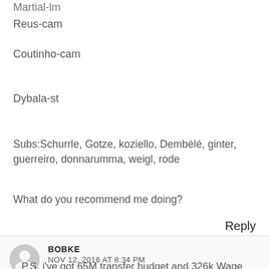Martial-lm
Reus-cam
Coutinho-cam
Dybala-st
Subs:Schurrle, Gotze, koziello, Dembélé, ginter, guerreiro, donnarumma, weigl, rode
What do you recommend me doing?
Reply
BOBKE
NOV 12, 2016 AT 8:34 PM
P.S. i've got 65M transfer budget and 326k Wage